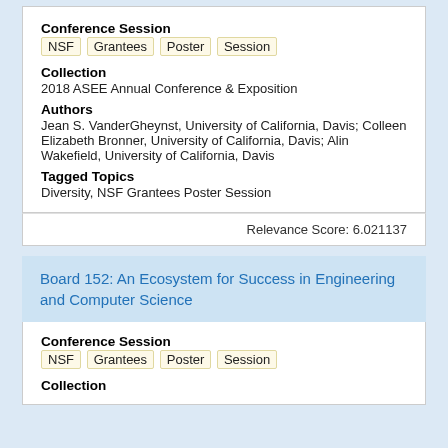Conference Session
NSF  Grantees  Poster  Session
Collection
2018 ASEE Annual Conference & Exposition
Authors
Jean S. VanderGheynst, University of California, Davis; Colleen Elizabeth Bronner, University of California, Davis; Alin Wakefield, University of California, Davis
Tagged Topics
Diversity, NSF Grantees Poster Session
Relevance Score: 6.021137
Board 152: An Ecosystem for Success in Engineering and Computer Science
Conference Session
NSF  Grantees  Poster  Session
Collection